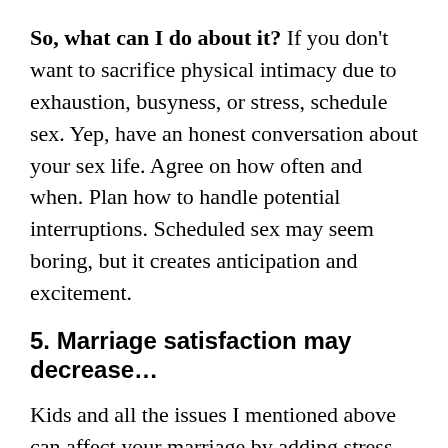So, what can I do about it? If you don't want to sacrifice physical intimacy due to exhaustion, busyness, or stress, schedule sex. Yep, have an honest conversation about your sex life. Agree on how often and when. Plan how to handle potential interruptions. Scheduled sex may seem boring, but it creates anticipation and excitement.
5. Marriage satisfaction may decrease...
Kids and all the issues I mentioned above can affect your marriage by adding stress